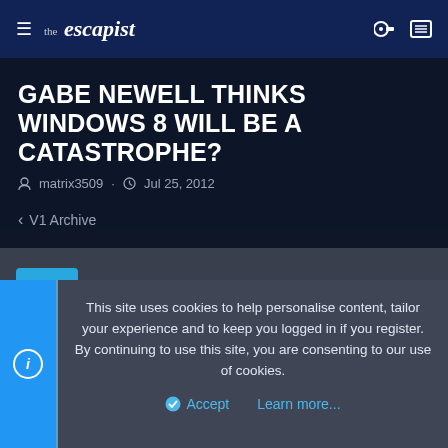≡ the escapist
GABE NEWELL THINKS WINDOWS 8 WILL BE A CATASTROPHE?
matrix3509 · Jul 25, 2012
< V1 Archive
mrdude2010
New member
This site uses cookies to help personalise content, tailor your experience and to keep you logged in if you register.
By continuing to use this site, you are consenting to our use of cookies.
✓ Accept    Learn more...